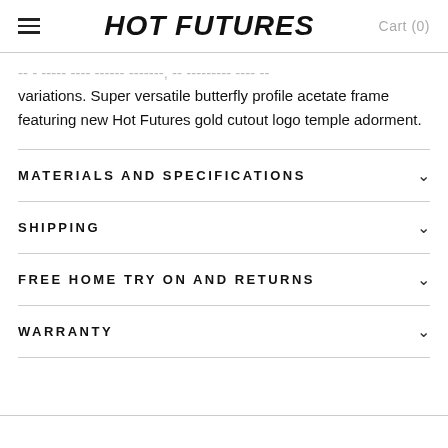HOT FUTURES  Cart (0)
variations. Super versatile butterfly profile acetate frame featuring new Hot Futures gold cutout logo temple adorment.
MATERIALS AND SPECIFICATIONS
SHIPPING
FREE HOME TRY ON AND RETURNS
WARRANTY